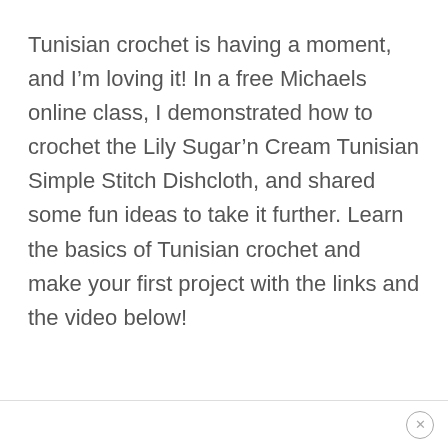Tunisian crochet is having a moment, and I’m loving it! In a free Michaels online class, I demonstrated how to crochet the Lily Sugar’n Cream Tunisian Simple Stitch Dishcloth, and shared some fun ideas to take it further. Learn the basics of Tunisian crochet and make your first project with the links and the video below!